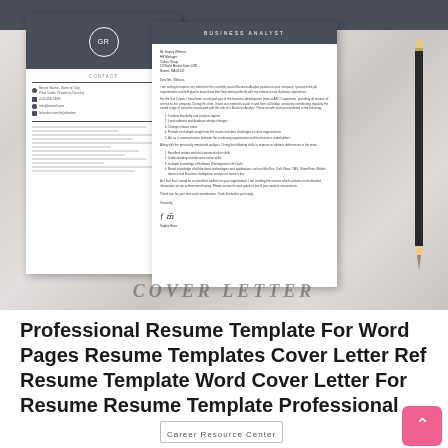[Figure (photo): A professional resume and cover letter template displayed on a marble surface with a pencil, showing a business analyst cover letter with header, contact section, body text, numbered lists, and signature. 'COVER LETTER' text appears at the bottom of the image.]
Professional Resume Template For Word Pages Resume Templates Cover Letter Ref Resume Template Word Cover Letter For Resume Resume Template Professional
Career Resource Center